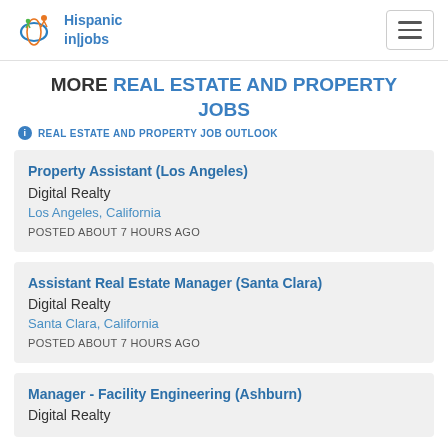Hispanic in|jobs
MORE REAL ESTATE AND PROPERTY JOBS
REAL ESTATE AND PROPERTY JOB OUTLOOK
Property Assistant (Los Angeles)
Digital Realty
Los Angeles, California
POSTED ABOUT 7 HOURS AGO
Assistant Real Estate Manager (Santa Clara)
Digital Realty
Santa Clara, California
POSTED ABOUT 7 HOURS AGO
Manager - Facility Engineering (Ashburn)
Digital Realty